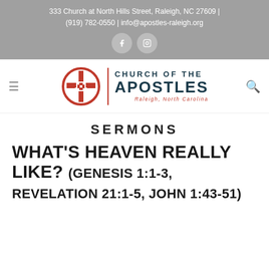333 Church at North Hills Street, Raleigh, NC 27609 | (919) 782-0550 | info@apostles-raleigh.org
[Figure (logo): Church of the Apostles logo with circular cross emblem and text 'CHURCH OF THE APOSTLES Raleigh, North Carolina']
SERMONS
WHAT'S HEAVEN REALLY LIKE? (GENESIS 1:1-3, REVELATION 21:1-5, JOHN 1:43-51)